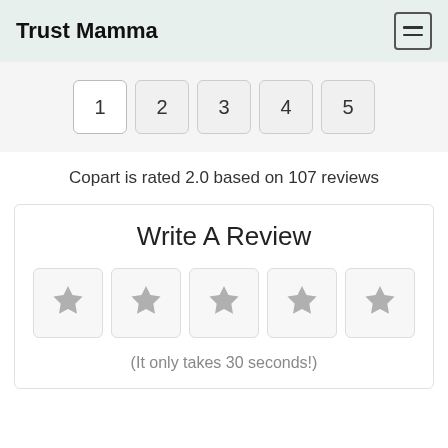Trust Mamma
[Figure (screenshot): Pagination buttons showing pages 1 through 5]
Copart is rated 2.0 based on 107 reviews
Write A Review
[Figure (infographic): Five grey star rating buttons for user input]
(It only takes 30 seconds!)